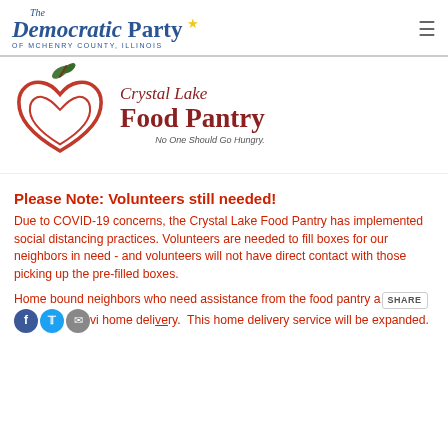The Democratic Party of McHenry County, Illinois
[Figure (logo): Crystal Lake Food Pantry logo with a red heart-shaped apple and green leaf, with text 'Crystal Lake Food Pantry' and tagline 'No One Should Go Hungry.']
Please Note: Volunteers still needed!
Due to COVID-19 concerns, the Crystal Lake Food Pantry has implemented social distancing practices. Volunteers are needed to fill boxes for our neighbors in need - and volunteers will not have direct contact with those picking up the pre-filled boxes.
Home bound neighbors who need assistance from the food pantry are receiving home delivery. This home delivery service will be expanded.